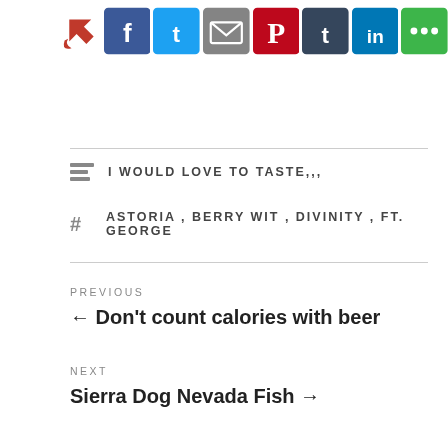[Figure (other): Social sharing icons strip: Share/arrow icon (red), Facebook (blue), Twitter (blue), Email (gray), Pinterest (red), Tumblr (blue), LinkedIn (blue), More (green)]
I WOULD LOVE TO TASTE,,,
ASTORIA , BERRY WIT , DIVINITY , FT. GEORGE
PREVIOUS
← Don't count calories with beer
NEXT
Sierra Dog Nevada Fish →